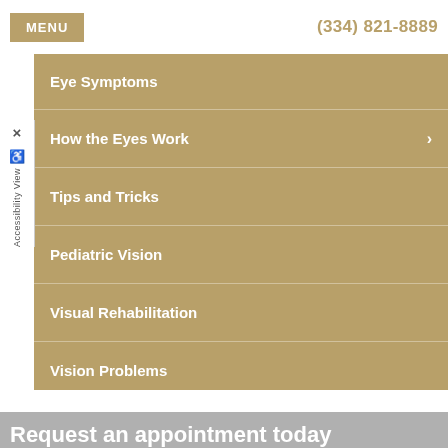MENU   (334) 821-8889
Eye Symptoms
How the Eyes Work
Tips and Tricks
Pediatric Vision
Visual Rehabilitation
Vision Problems
We Can Help With
Newsletters
Request an appointment today